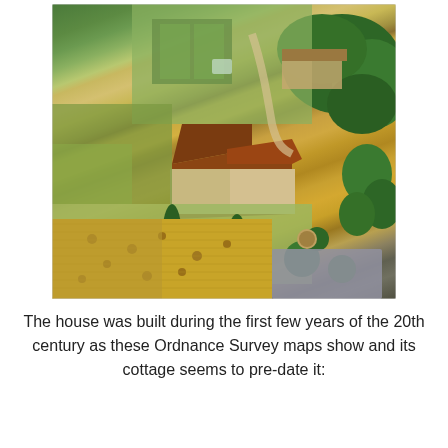[Figure (photo): Aerial photograph of a large English country house with red/brown tiled roof and stone walls, surrounded by green lawns, garden plots, trees, and agricultural fields including a harvested hay field with bales. A pond or hard-standing area is visible in the lower right.]
The house was built during the first few years of the 20th century as these Ordnance Survey maps show and its cottage seems to pre-date it: